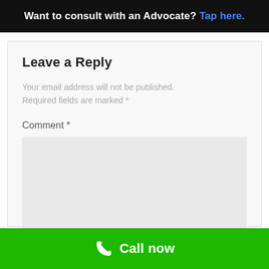Want to consult with an Advocate? Tap here.
Leave a Reply
Your email address will not be published. Required fields are marked *
Comment *
[Figure (other): Empty comment textarea input box with light gray background]
Call now